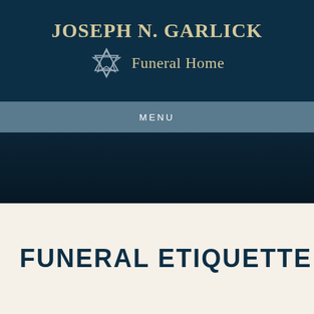[Figure (logo): Joseph N. Garlick Funeral Home logo with Star of David, on dark navy background with menu bar]
JOSEPH N. GARLICK Funeral Home
MENU
FUNERAL ETIQUETTE